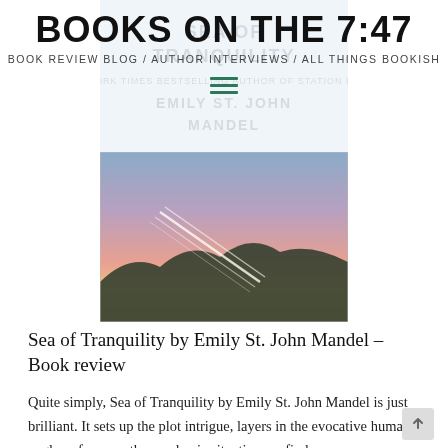BOOKS ON THE 7:47
BOOK REVIEW BLOG / AUTHOR INTERVIEWS / ALL THINGS BOOKISH
[Figure (photo): Book cover of Sea of Tranquility by Emily St. John Mandel overlaid with photo showing airplane contrails over a sunset mountain landscape with pink and purple sky]
Sea of Tranquility by Emily St. John Mandel – Book review
Quite simply, Sea of Tranquility by Emily St. John Mandel is just brilliant. It sets up the plot intrigue, layers in the evocative human angle, references the pandemic situation we find